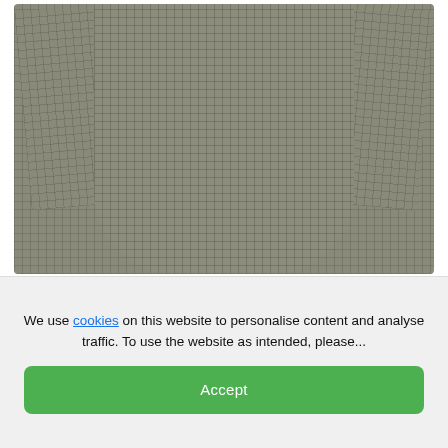[Figure (photo): A grey/khaki checkered military-style shirt with long sleeves laid flat, showing the full front of the garment with a placket and small button at the collar]
[Figure (logo): Blighty Militaria logo with lightning bolt arrows and underline]
[Figure (photo): Two smaller detail photos at the bottom: left shows a collar detail, right shows a folded sleeve/cuff area of the same grey checkered shirt]
We use cookies on this website to personalise content and analyse traffic. To use the website as intended, please...
Accept